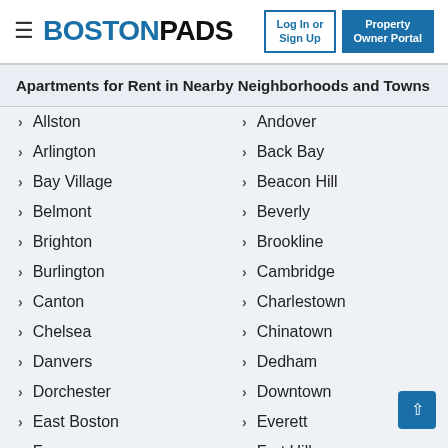BOSTONPADS — Log In or Sign Up | Property Owner Portal
Apartments for Rent in Nearby Neighborhoods and Towns
Allston
Andover
Arlington
Back Bay
Bay Village
Beacon Hill
Belmont
Beverly
Brighton
Brookline
Burlington
Cambridge
Canton
Charlestown
Chelsea
Chinatown
Danvers
Dedham
Dorchester
Downtown
East Boston
Everett
Fenway
Fort Hill